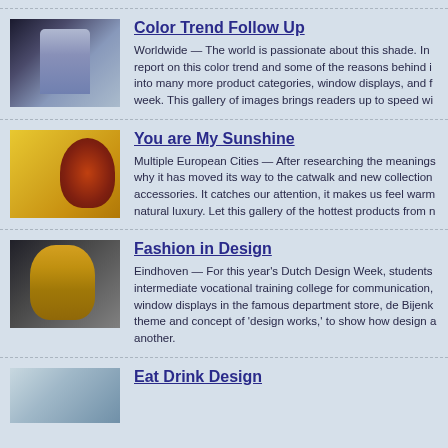[Figure (photo): Woman in blue patterned blouse]
Color Trend Follow Up
Worldwide — The world is passionate about this shade. In report on this color trend and some of the reasons behind it into many more product categories, window displays, and f week. This gallery of images brings readers up to speed wi
[Figure (photo): Yellow vase and decorative patterned object]
You are My Sunshine
Multiple European Cities — After researching the meanings why it has moved its way to the catwalk and new collection accessories. It catches our attention, it makes us feel warm natural luxury. Let this gallery of the hottest products from n
[Figure (photo): Golden face mask sculpture]
Fashion in Design
Eindhoven — For this year's Dutch Design Week, students intermediate vocational training college for communication, window displays in the famous department store, de Bijenk theme and concept of 'design works,' to show how design a another.
[Figure (photo): Building exterior with glass roof]
Eat Drink Design